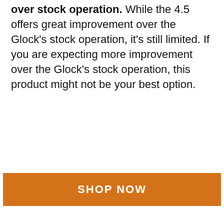over stock operation. While the 4.5 offers great improvement over the Glock's stock operation, it's still limited. If you are expecting more improvement over the Glock's stock operation, this product might not be your best option.
[Figure (other): Orange 'SHOP NOW' button]
4. LANTAC SSR-3.5 Super Short Reset Connector
[Figure (photo): Photo of the LANTAC SSR 3.5 connector — a small silver metal firearm component with 'LANTAC SSR 3.5' text engraved on it]